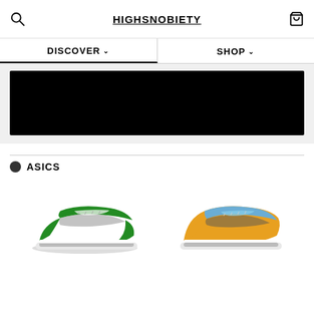HIGHSNOBIETY
DISCOVER
SHOP
[Figure (other): Black banner image placeholder]
ASICS
[Figure (photo): Two ASICS sneakers side by side — left: green and white colorway, right: yellow and blue colorway]